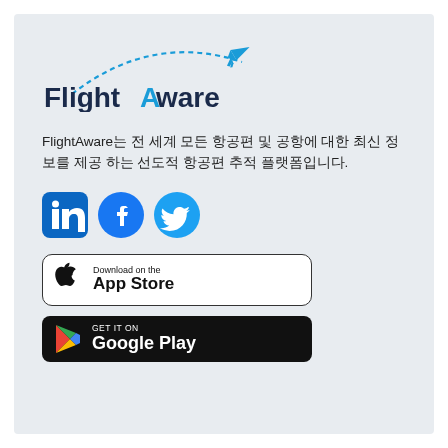[Figure (logo): FlightAware logo with airplane icon and dashed flight path arc]
FlightAware는 전 세계 모든 항공편 및 공항에 대한 최신 정보를 제공 하는 선도적 항공편 추적 플랫폼입니다.
[Figure (other): Social media icons: LinkedIn, Facebook, Twitter]
[Figure (other): Download on the App Store badge]
[Figure (other): GET IT ON Google Play badge]